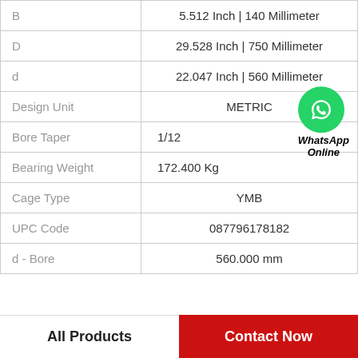| Property | Value |
| --- | --- |
| B | 5.512 Inch | 140 Millimeter |
| D | 29.528 Inch | 750 Millimeter |
| d | 22.047 Inch | 560 Millimeter |
| Design Unit | METRIC |
| Bore Taper | 1/12 |
| Bearing Weight | 172.400 Kg |
| Cage Type | YMB |
| UPC Code | 087796178182 |
| d - Bore | 560.000 mm |
All Products | Contact Now